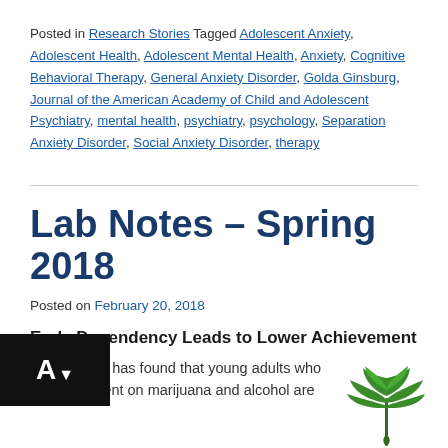Posted in Research Stories Tagged Adolescent Anxiety, Adolescent Health, Adolescent Mental Health, Anxiety, Cognitive Behavioral Therapy, General Anxiety Disorder, Golda Ginsburg, Journal of the American Academy of Child and Adolescent Psychiatry, mental health, psychiatry, psychology, Separation Anxiety Disorder, Social Anxiety Disorder, therapy
Lab Notes – Spring 2018
Posted on February 20, 2018
Early Dependency Leads to Lower Achievement
A new study has found that young adults who are dependent on marijuana and alcohol are